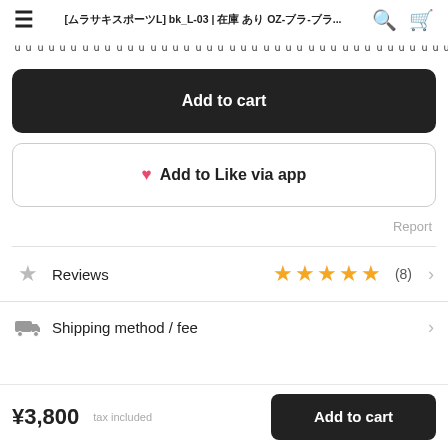[ムラサキスポーツL] bk_L-03 | 在庫 あり OZ-ブラ-ブラ...
ｕｕｕｕｕｕｕｕｕｕｕｕｕｕｕｕｕｕｕｕｕｕｕｕｕｕｕｕｕｕｕｕｕｕｕｕｕｕｕｕｕｕｕ
Add to cart
❤ Add to Like via app
Report
Reviews (8) ★★★★★
Shipping method / fee
¥3,800 tax included Add to cart